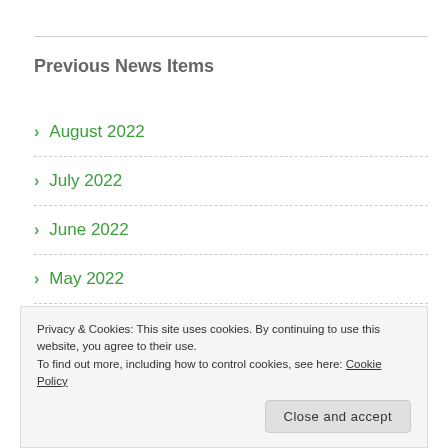Previous News Items
August 2022
July 2022
June 2022
May 2022
April 2022
Privacy & Cookies: This site uses cookies. By continuing to use this website, you agree to their use.
To find out more, including how to control cookies, see here: Cookie Policy
January 2022